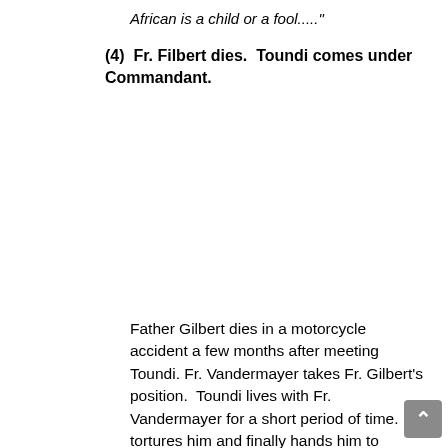African is a child or a fool....."
(4) Fr. Filbert dies. Toundi comes under Commandant.
Father Gilbert dies in a motorcycle accident a few months after meeting Toundi. Fr. Vandermayer takes Fr. Gilbert’s position. Toundi lives with Fr. Vandermayer for a short period of time. He tortures him and finally hands him to